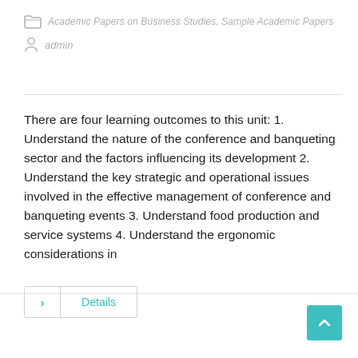Academic Papers on Business Studies, Sample Academic Papers
admin
There are four learning outcomes to this unit: 1. Understand the nature of the conference and banqueting sector and the factors influencing its development 2. Understand the key strategic and operational issues involved in the effective management of conference and banqueting events 3. Understand food production and service systems 4. Understand the ergonomic considerations in
Details